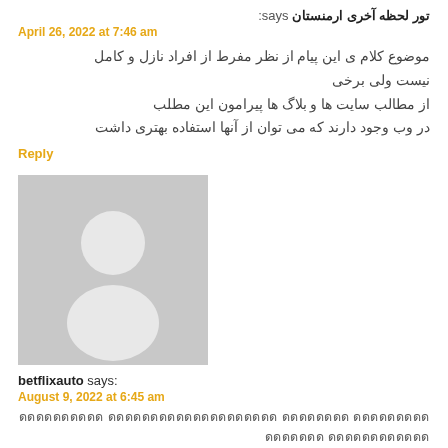تور لحظه آخری ارمنستان says:
April 26, 2022 at 7:46 am
موضوع کلام ی این پیام از نظر مفرط از افراد نازل و کامل نیست ولی برخی از مطالب سایت ها و بلاگ ها پیرامون این مطلب در وب وجود دارند که می توان از آنها استفاده بهتری داشت
Reply
[Figure (illustration): Default avatar placeholder - grey background with white silhouette of a person (head and shoulders)]
betflixauto says:
August 9, 2022 at 6:45 am
ดดดดดดดดดด ดดดดดดดดดดดดดดดดดดดด ดดดดดดดด ดดดดดดดดดดดดดดดด ดดดดดดดดดดดด ดดดดดด ดดดดดดดดดดดดดดดด ดดดดดด
Reply